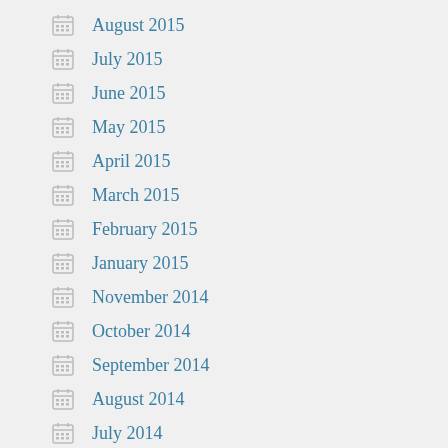August 2015
July 2015
June 2015
May 2015
April 2015
March 2015
February 2015
January 2015
November 2014
October 2014
September 2014
August 2014
July 2014
June 2014